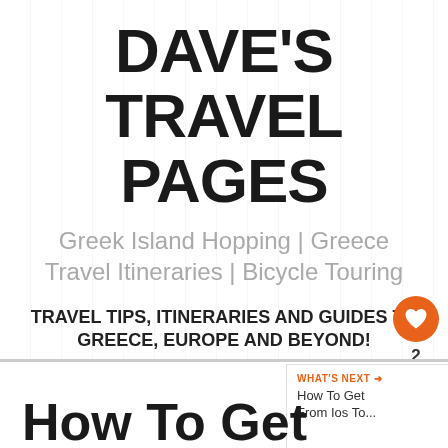DAVE'S TRAVEL PAGES
Greek Island Hopping | Greece Travel Itineraries | Bicycle Touring
TRAVEL TIPS, ITINERARIES AND GUIDES TO GREECE, EUROPE AND BEYOND!
Search this website
2
WHAT'S NEXT → How To Get From Ios To...
How To Get